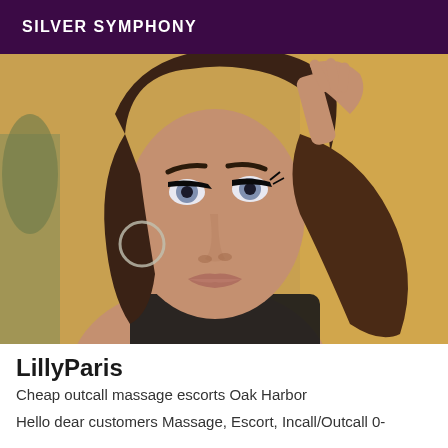SILVER SYMPHONY
[Figure (photo): Portrait photo of a young woman with long dark wavy hair, dramatic eye makeup, hoop earring, hand raised to her head, wearing a dark top, indoor background]
LillyParis
Cheap outcall massage escorts Oak Harbor
Hello dear customers Massage, Escort, Incall/Outcall 0-